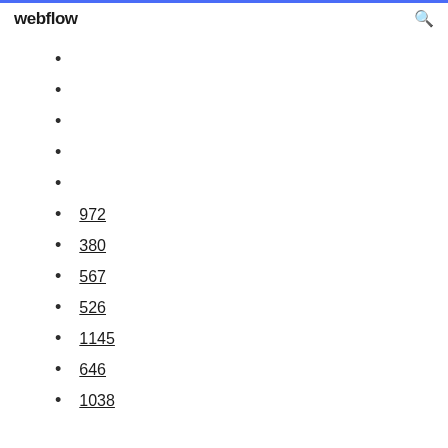webflow
972
380
567
526
1145
646
1038